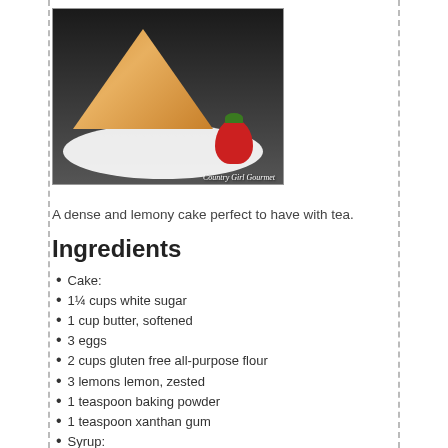[Figure (photo): A slice of lemon cake on a white doily plate with a strawberry, watermark reads Country Girl Gourmet]
A dense and lemony cake perfect to have with tea.
Ingredients
Cake:
1¼ cups white sugar
1 cup butter, softened
3 eggs
2 cups gluten free all-purpose flour
3 lemons lemon, zested
1 teaspoon baking powder
1 teaspoon xanthan gum
Syrup:
½ cup white sugar
3 lemons, juiced